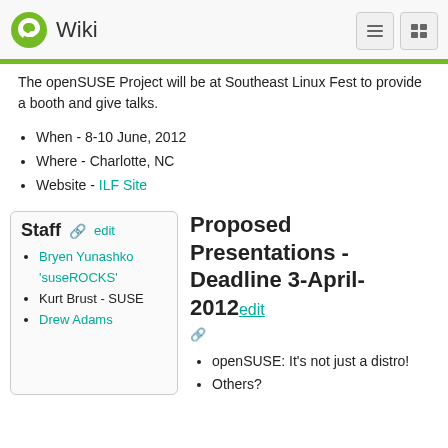Wiki
The openSUSE Project will be at Southeast Linux Fest to provide a booth and give talks.
When - 8-10 June, 2012
Where - Charlotte, NC
Website - ILF Site
Staff
Bryen Yunashko 'suseROCKS'
Kurt Brust - SUSE
Drew Adams
Proposed Presentations - Deadline 3-April-2012
openSUSE: It's not just a distro!
Others?